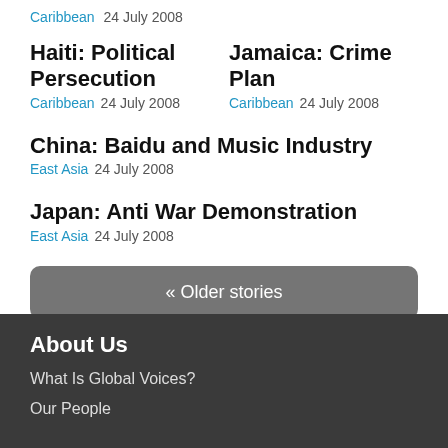Caribbean  24 July 2008
Haiti: Political Persecution
Caribbean  24 July 2008
Jamaica: Crime Plan
Caribbean  24 July 2008
China: Baidu and Music Industry
East Asia  24 July 2008
Japan: Anti War Demonstration
East Asia  24 July 2008
« Older stories
About Us
What Is Global Voices?
Our People